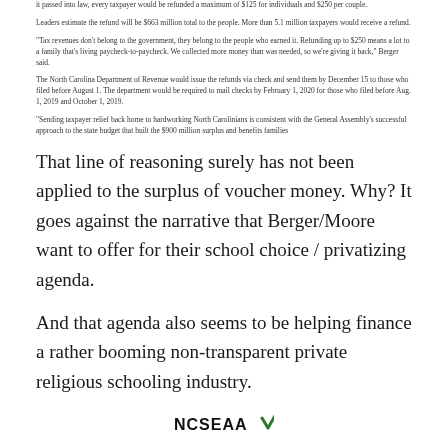it passed into law, every taxpayer would be refunded a maximum of $125 for individuals and $250 per couple.
Leaders estimate the refund will be $663 million total to the people. More than 5.1 million taxpayers would receive a refund.
"Tax revenues don't belong to the government, they belong to the people who earned it. Refunding up to $250 means a lot to a family that's living paycheck-to-paycheck. We collected more money than was needed, so we're giving it back," Berger said.
The North Carolina Department of Revenue would issue the refunds via check and send them by December 15 to those who filed before August 1. The department would be required to mail checks by February 1, 2020 for those who filed before Aug. 1, 2019 and October 1, 2019.
"Sending taxpayer relief back home to hardworking North Carolinians is consistent with the General Assembly's successful approach to the state budget that built the $900 million surplus and benefits families
That line of reasoning surely has not been applied to the surplus of voucher money. Why? It goes against the narrative that Berger/Moore want to offer for their school choice / privatizing agenda.
And that agenda also seems to be helping finance a rather booming non-transparent private religious schooling industry.
[Figure (logo): NCSEAA logo with checkmark]